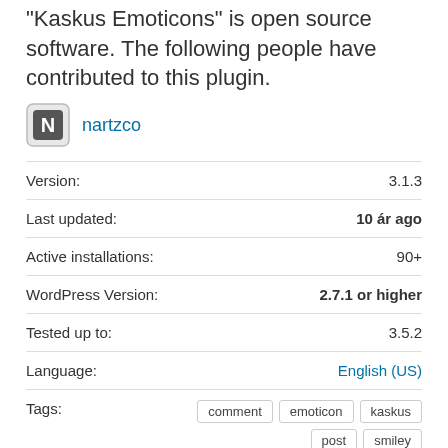"Kaskus Emoticons" is open source software. The following people have contributed to this plugin.
nartzco
| Field | Value |
| --- | --- |
| Version: | 3.1.3 |
| Last updated: | 10 ár ago |
| Active installations: | 90+ |
| WordPress Version: | 2.7.1 or higher |
| Tested up to: | 3.5.2 |
| Language: | English (US) |
| Tags: | comment  emoticon  kaskus  post  smiley |
Advanced View